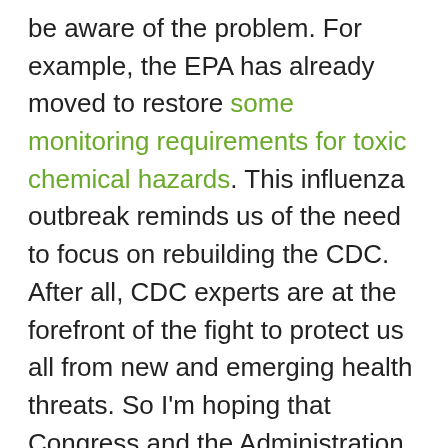be aware of the problem. For example, the EPA has already moved to restore some monitoring requirements for toxic chemical hazards. This influenza outbreak reminds us of the need to focus on rebuilding the CDC. After all, CDC experts are at the forefront of the fight to protect us all from new and emerging health threats. So I'm hoping that Congress and the Administration act to increase the funding stream to CDC, so that they can build an even stronger health tracking network, and can prepare to respond rapidly and strongly to the crises of the 21st century, including emerging infectious diseases, and the health threats from climate change. It's not too late to get back on track.
***This post originally appeared on the NRDC